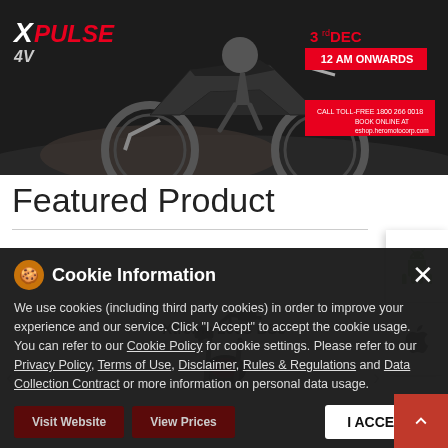[Figure (photo): Hero banner advertisement for Hero MotoCorp XPulse 4V motorcycle. Dark moody background with motorcycle action shot. Text reads 3rd DEC 12 AM ONWARDS, CALL TOLL-FREE and shop.heromotocorp.com]
Featured Product
[Figure (screenshot): Android app icon (green robot logo) in white panel on right side]
[Figure (screenshot): Apple app icon (Apple logo) in white panel on right side]
[Figure (photo): Partial view of Xtreme 200S BS6 motorcycle handlebar and front section]
Cookie Information
We use cookies (including third party cookies) in order to improve your experience and our service. Click "I Accept" to accept the cookie usage. You can refer to our Cookie Policy for cookie settings. Please refer to our Privacy Policy, Terms of Use, Disclaimer, Rules & Regulations and Data Collection Contract or more information on personal data usage.
Xtreme 200S BS6
Visit Website
View Prices
I ACCEPT